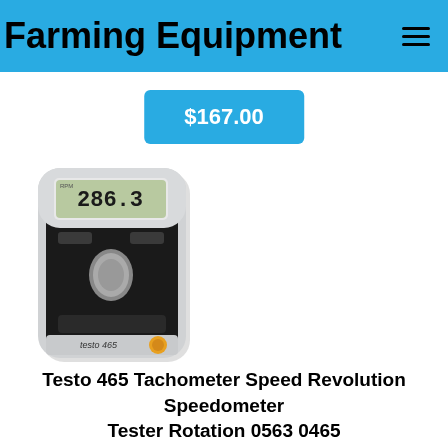Farming Equipment
$167.00
[Figure (photo): Testo 465 tachometer device — a handheld silver and black speed measurement instrument with an LCD display showing 286.3, buttons, and a testo logo at the bottom.]
Testo 465 Tachometer Speed Revolution Speedometer Tester Rotation 0563 0465